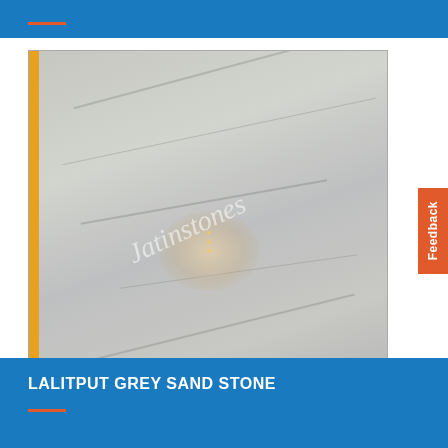[Figure (photo): A polished grey sandstone slab with white marble-like veining and a reflective surface. Jatinstones watermark visible diagonally across the image. Yellow strip on the left edge.]
LALITPUT GREY SAND STONE